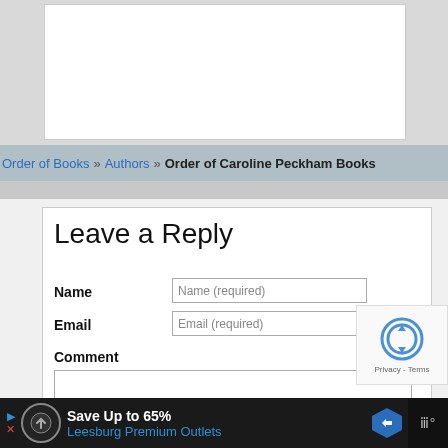[Figure (screenshot): White content area with gray background, top portion of a webpage]
Order of Books » Authors » Order of Caroline Peckham Books
Leave a Reply
Name
Name (required)
Email
Email (required)
Comment
[Figure (screenshot): reCAPTCHA widget with blue checkbox icon, Privacy and Terms links]
[Figure (infographic): Advertisement bar: Save Up to 65% Leesburg Premium Outlets with navigation icons on dark background]